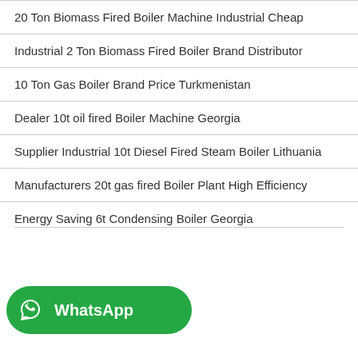20 Ton Biomass Fired Boiler Machine Industrial Cheap
Industrial 2 Ton Biomass Fired Boiler Brand Distributor
10 Ton Gas Boiler Brand Price Turkmenistan
Dealer 10t oil fired Boiler Machine Georgia
Supplier Industrial 10t Diesel Fired Steam Boiler Lithuania
Manufacturers 20t gas fired Boiler Plant High Efficiency
Energy Saving 6t Condensing Boiler Georgia
[Figure (logo): WhatsApp button with green background, phone icon, and bold white WhatsApp text]